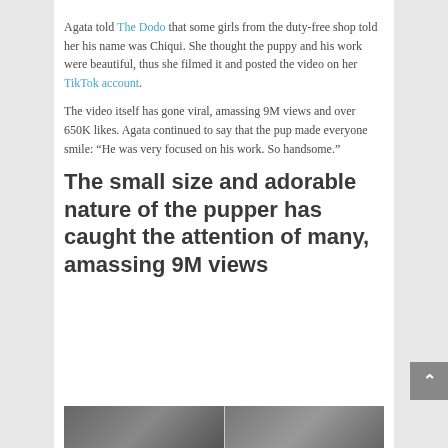Agata told The Dodo that some girls from the duty-free shop told her his name was Chiqui. She thought the puppy and his work were beautiful, thus she filmed it and posted the video on her TikTok account.
The video itself has gone viral, amassing 9M views and over 650K likes. Agata continued to say that the pup made everyone smile: “He was very focused on his work. So handsome.”
The small size and adorable nature of the pupper has caught the attention of many, amassing 9M views
[Figure (photo): Bottom strip showing two partial images side by side]